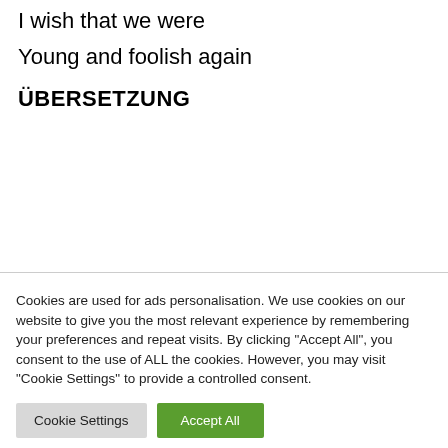I wish that we were
Young and foolish again
ÜBERSETZUNG
Cookies are used for ads personalisation. We use cookies on our website to give you the most relevant experience by remembering your preferences and repeat visits. By clicking "Accept All", you consent to the use of ALL the cookies. However, you may visit "Cookie Settings" to provide a controlled consent.
Cookie Settings | Accept All